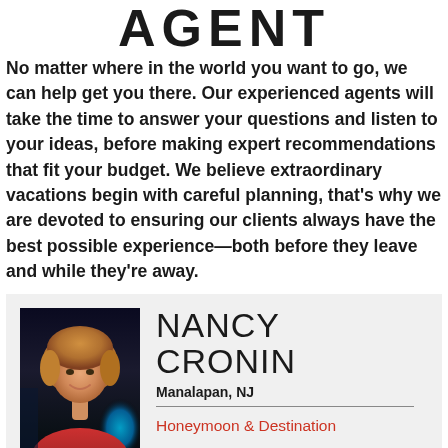AGENT
No matter where in the world you want to go, we can help get you there. Our experienced agents will take the time to answer your questions and listen to your ideas, before making expert recommendations that fit your budget. We believe extraordinary vacations begin with careful planning, that's why we are devoted to ensuring our clients always have the best possible experience—both before they leave and while they're away.
[Figure (photo): Headshot photo of Nancy Cronin, a woman with short blonde hair, smiling, wearing a red top, photographed at night with blue lighting in the background.]
NANCY CRONIN
Manalapan, NJ
Honeymoon & Destination